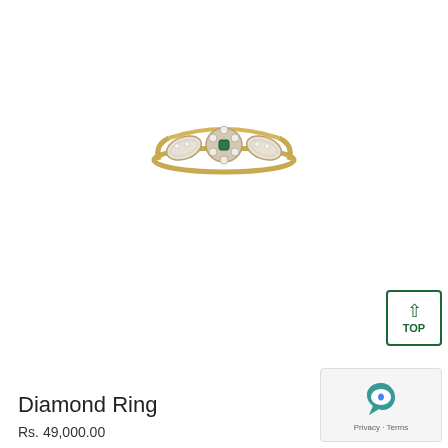[Figure (photo): A gold diamond ring with floral cluster center and marquise-shaped side stones set with small diamonds, photographed on white background]
Diamond Ring
Rs. 49,000.00